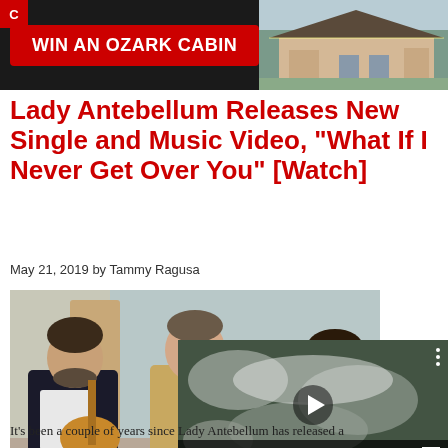[Figure (photo): Advertisement banner for 'Win an Ozark Cabin' contest with red button and cabin photo on dark background]
Lady Antebellum Releases New Single and Music Video, “What If I Never Get Over You” [Watch]
May 21, 2019 by Tammy Ragusa
[Figure (photo): Music video still of Lady Antebellum members singing indoors, plus overlapping video player thumbnail showing aerial winter forest scene with play button and muted audio controls]
It’s been a couple of years since Lady Antebellum has released a